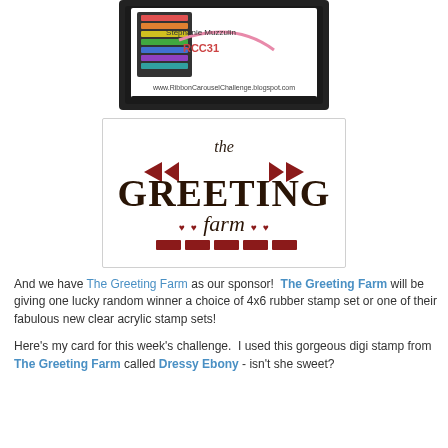[Figure (illustration): Ribbon Carousel Challenge badge with scalloped black border, showing stacked colorful spools of ribbon, text 'Stephanie Muzzulin', 'RCC31', and URL www.RibbonCarouselChallenge.blogspot.com]
[Figure (logo): The Greeting Farm logo: dark red/maroon decorative arch text 'GREETING' with 'the' above and 'farm' below, flanked by chevron/arrow decorative elements, hearts and brick-like base elements]
And we have The Greeting Farm as our sponsor!  The Greeting Farm will be giving one lucky random winner a choice of 4x6 rubber stamp set or one of their fabulous new clear acrylic stamp sets!
Here's my card for this week's challenge.  I used this gorgeous digi stamp from The Greeting Farm called Dressy Ebony - isn't she sweet?